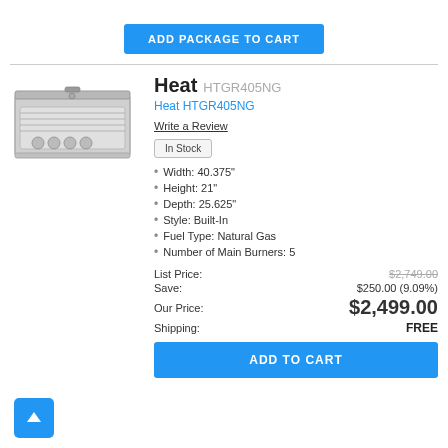ADD PACKAGE TO CART
[Figure (photo): Product photo of Heat HTGR405NG built-in grill, stainless steel, top-down angle view with knobs visible]
Heat HTGR405NG
Heat HTGR405NG
Write a Review
In Stock
Width: 40.375"
Height: 21"
Depth: 25.625"
Style: Built-In
Fuel Type: Natural Gas
Number of Main Burners: 5
| Label | Value |
| --- | --- |
| List Price: | $2,749.00 |
| Save: | $250.00 (9.09%) |
| Our Price: | $2,499.00 |
| Shipping: | FREE |
ADD TO CART